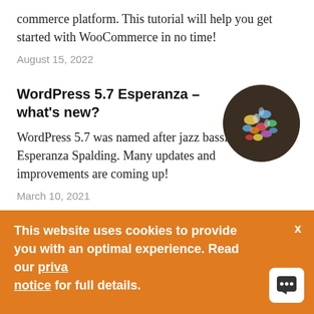commerce platform. This tutorial will help you get started with WooCommerce in no time!
August 15, 2022
WordPress 5.7 Esperanza – what's new?
[Figure (photo): Circular thumbnail image showing colorful small objects (likely candy or beads) on a dark background]
WordPress 5.7 was named after jazz bassist Esperanza Spalding. Many updates and improvements are coming up!
March 10, 2021
This website uses cookies to provide you with an optimal experience. Read our privacy notice for full details.